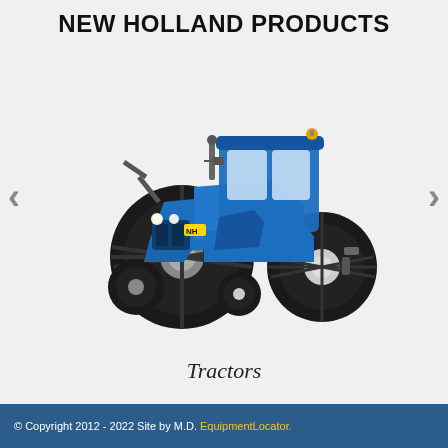NEW HOLLAND PRODUCTS
[Figure (photo): A large blue New Holland tractor facing three-quarters view, showing large rear tires and cab, on a white/light grey background. Navigation arrows (< and >) on left and right sides.]
Tractors
© Copyright 2012 - 2022 Site by M.D. EquipmentLocator.